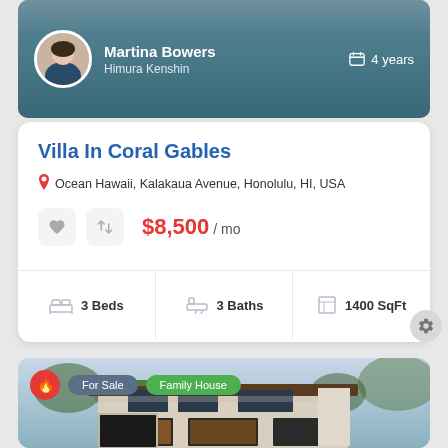[Figure (photo): Agent profile card with background pool/outdoor photo. Shows Martina Bowers avatar, name, subtitle Himura Kenshin, and 4 years badge.]
Martina Bowers
Himura Kenshin
4 years
Villa In Coral Gables
Ocean Hawaii, Kalakaua Avenue, Honolulu, HI, USA
$8,500 / mo
3 Beds
3 Baths
1400 SqFt
[Figure (photo): Modern two-story family house exterior photo with trees, wood beams, large windows, warm interior lighting visible. Badges: For Sale, Family House.]